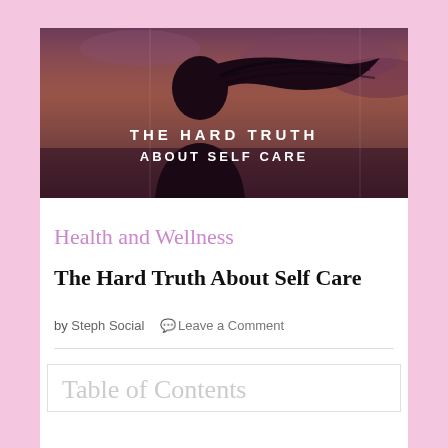[Figure (photo): Woman with hair blowing in the wind at sunset/dusk, silhouetted against a purple-orange sky. Text overlay reads 'THE HARD TRUTH ABOUT SELF CARE' in white bold letters.]
Health and Wellness
The Hard Truth About Self Care
by Steph Social   Leave a Comment
Table of Contents